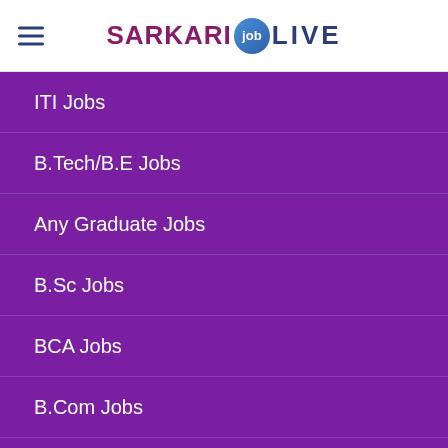SARKARI job LIVE
ITI Jobs
B.Tech/B.E Jobs
Any Graduate Jobs
B.Sc Jobs
BCA Jobs
B.Com Jobs
Jobs by Education